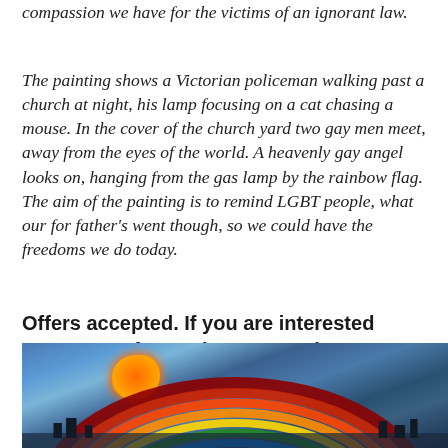compassion we have for the victims of an ignorant law.
The painting shows a Victorian policeman walking past a church at night, his lamp focusing on a cat chasing a mouse.  In the cover of the church yard two gay men meet, away from the eyes of the world.  A heavenly gay angel looks on, hanging from the gas lamp by the rainbow flag.  The aim of the painting is to remind LGBT people, what our for father's went though, so we could have the freedoms we do today.
Offers accepted.  If you are interested contact me for a price or to make a counter offer.
[Figure (photo): Painting showing a rainbow arc over a dark blue textured background with an orange sun or explosion in the upper left area, and small dark figures at the bottom]